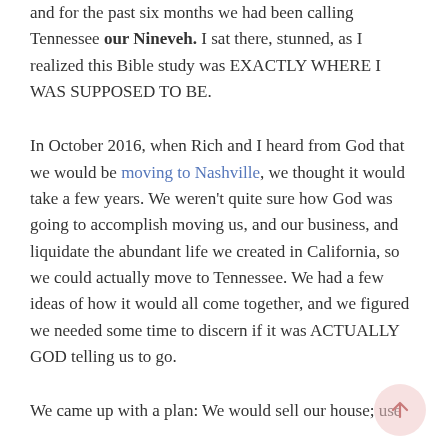and for the past six months we had been calling Tennessee our Nineveh. I sat there, stunned, as I realized this Bible study was EXACTLY WHERE I WAS SUPPOSED TO BE.
In October 2016, when Rich and I heard from God that we would be moving to Nashville, we thought it would take a few years. We weren't quite sure how God was going to accomplish moving us, and our business, and liquidate the abundant life we created in California, so we could actually move to Tennessee. We had a few ideas of how it would all come together, and we figured we needed some time to discern if it was ACTUALLY GOD telling us to go.
We came up with a plan: We would sell our house; use